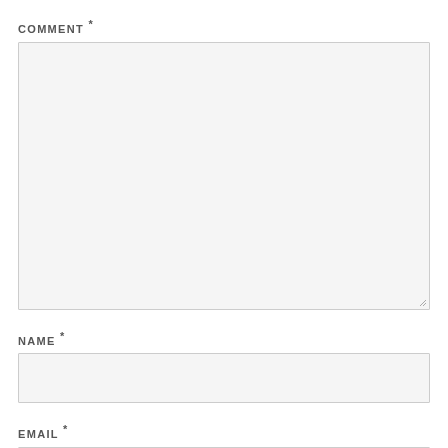COMMENT *
[Figure (other): Large empty textarea form field with light gray background and resize handle in bottom-right corner]
NAME *
[Figure (other): Single-line text input field with light gray background]
EMAIL *
[Figure (other): Single-line email input field with light gray background, partially visible at bottom of page]